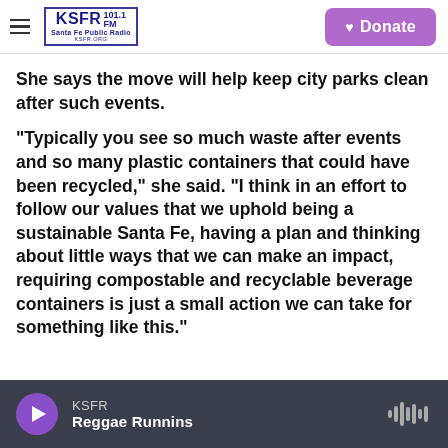KSFR 101.1 FM Santa Fe Public Radio — Donate
She says the move will help keep city parks clean after such events.
“Typically you see so much waste after events and so many plastic containers that could have been recycled,” she said. “I think in an effort to follow our values that we uphold being a sustainable Santa Fe, having a plan and thinking about little ways that we can make an impact, requiring compostable and recyclable beverage containers is just a small action we can take for something like this.”
KSFR — Reggae Runnins